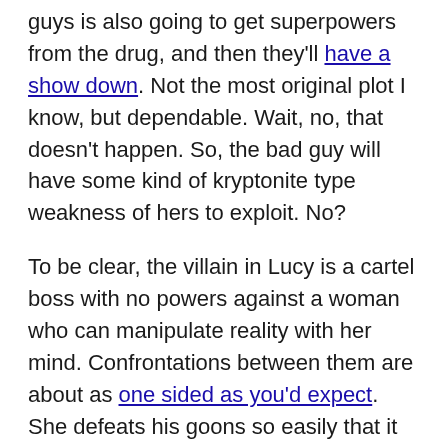guys is also going to get superpowers from the drug, and then they'll have a show down. Not the most original plot I know, but dependable. Wait, no, that doesn't happen. So, the bad guy will have some kind of kryptonite type weakness of hers to exploit. No?
To be clear, the villain in Lucy is a cartel boss with no powers against a woman who can manipulate reality with her mind. Confrontations between them are about as one sided as you'd expect. She defeats his goons so easily that it sucks all possible tension out of the story. This might not be a problem if so much of the movie didn't consist of cartel goons trying to kill the main character.